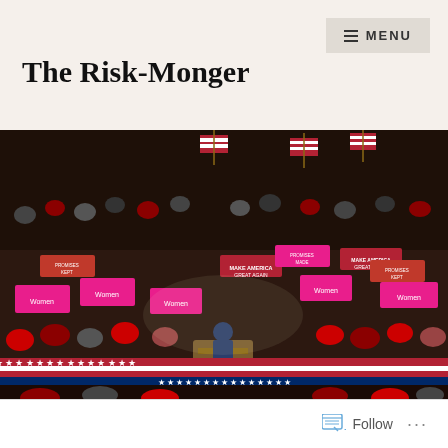The Risk-Monger
[Figure (photo): Large political rally crowd scene at night, people holding pink and red signs, American flags visible, a speaker at a presidential podium in the center, crowd wearing red hats and winter clothing]
Follow